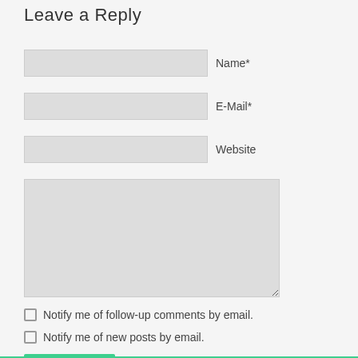Leave a Reply
Name*
E-Mail*
Website
Notify me of follow-up comments by email.
Notify me of new posts by email.
Publish